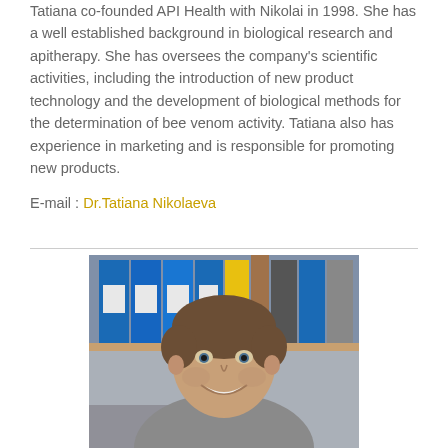Tatiana co-founded API Health with Nikolai in 1998. She has a well established background in biological research and apitherapy. She has oversees the company's scientific activities, including the introduction of new product technology and the development of biological methods for the determination of bee venom activity. Tatiana also has experience in marketing and is responsible for promoting new products.
E-mail : Dr.Tatiana Nikolaeva
[Figure (photo): Photo of a young man with short brown hair, smiling, wearing a grey sweater, seated in front of a bookshelf with blue and other colored binders]